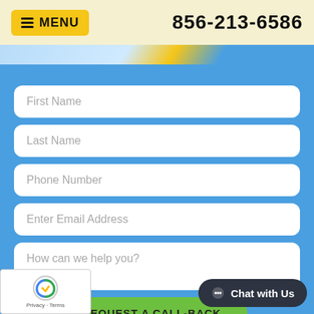≡MENU   856-213-6586
[Figure (screenshot): Web contact form on blue background with fields: First Name, Last Name, Phone Number, Enter Email Address, How can we help you?, and a green REQUEST A CALL-BACK button. Includes reCAPTCHA badge and Chat with Us button.]